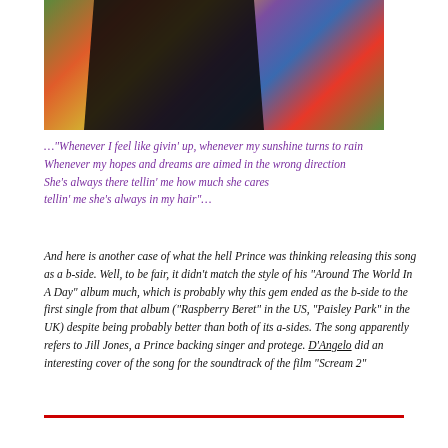[Figure (photo): Photograph of a person dressed in black against a colorful abstract painted background with green, orange, purple, blue, and red shapes]
..."Whenever I feel like givin' up, whenever my sunshine turns to rain Whenever my hopes and dreams are aimed in the wrong direction She's always there tellin' me how much she cares tellin' me she's always in my hair"...
And here is another case of what the hell Prince was thinking releasing this song as a b-side. Well, to be fair, it didn't match the style of his "Around The World In A Day" album much, which is probably why this gem ended as the b-side to the first single from that album ("Raspberry Beret" in the US, "Paisley Park" in the UK) despite being probably better than both of its a-sides. The song apparently refers to Jill Jones, a Prince backing singer and protege. D'Angelo did an interesting cover of the song for the soundtrack of the film "Scream 2"